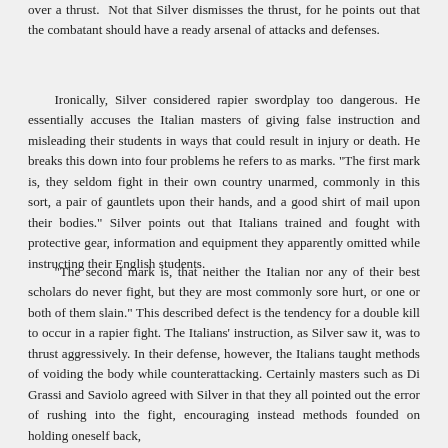over a thrust.  Not that Silver dismisses the thrust, for he points out that the combatant should have a ready arsenal of attacks and defenses.
Ironically, Silver considered rapier swordplay too dangerous. He essentially accuses the Italian masters of giving false instruction and misleading their students in ways that could result in injury or death. He breaks this down into four problems he refers to as marks. "The first mark is, they seldom fight in their own country unarmed, commonly in this sort, a pair of gauntlets upon their hands, and a good shirt of mail upon their bodies." Silver points out that Italians trained and fought with protective gear, information and equipment they apparently omitted while instructing their English students.
"The second mark is, that neither the Italian nor any of their best scholars do never fight, but they are most commonly sore hurt, or one or both of them slain." This described defect is the tendency for a double kill to occur in a rapier fight. The Italians' instruction, as Silver saw it, was to thrust aggressively. In their defense, however, the Italians taught methods of voiding the body while counterattacking. Certainly masters such as Di Grassi and Saviolo agreed with Silver in that they all pointed out the error of rushing into the fight, encouraging instead methods founded on holding oneself back,